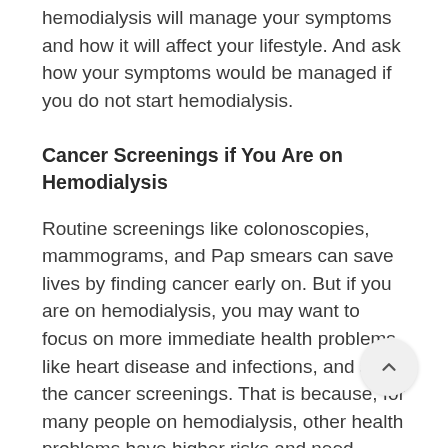hemodialysis will manage your symptoms and how it will affect your lifestyle. And ask how your symptoms would be managed if you do not start hemodialysis.
Cancer Screenings if You Are on Hemodialysis
Routine screenings like colonoscopies, mammograms, and Pap smears can save lives by finding cancer early on. But if you are on hemodialysis, you may want to focus on more immediate health problems, like heart disease and infections, and skip the cancer screenings. That is because, for many people on hemodialysis, other health problems have higher risks and need